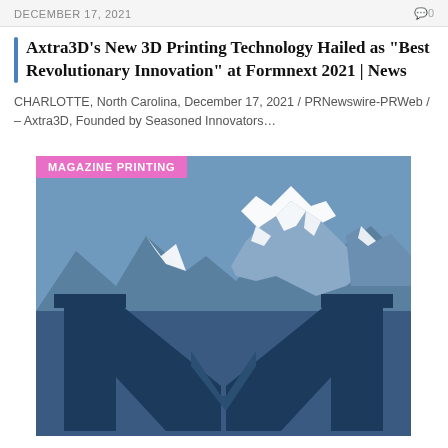DECEMBER 17, 2021   0
Axtra3D's New 3D Printing Technology Hailed as "Best Revolutionary Innovation" at Formnext 2021 | News
CHARLOTTE, North Carolina, December 17, 2021 / PRNewswire-PRWeb / – Axtra3D, Founded by Seasoned Innovators…
MAGAZINE PRINTING
[Figure (logo): Magazine Printing logo — a large serif letter M in dark navy blue with snowy mountain peaks visible above and behind the letter, set against a steel blue background.]